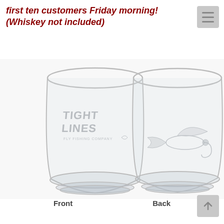first ten customers Friday morning! (Whiskey not included)
[Figure (photo): Two whiskey glasses side by side. The left glass (Front view) shows the Tight Lines Fly Fishing Company logo engraved in frosted etching. The right glass (Back view) shows a fly fishing lure/fly engraved in frosted etching. Both are clear glass lowball/rocks-style glasses.]
Front
Back